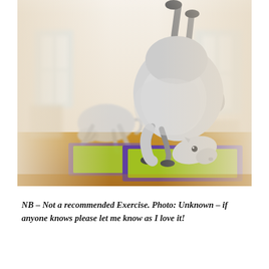[Figure (illustration): A humorous photo illustration showing white horses performing yoga poses on green and purple yoga mats on a wooden floor inside a room with windows. The main horse in the foreground is doing a headstand/tucked inversion pose, while another horse in the background is in a forward-fold pose. The image is digitally composited.]
NB – Not a recommended Exercise. Photo: Unknown – if anyone knows please let me know as I love it!